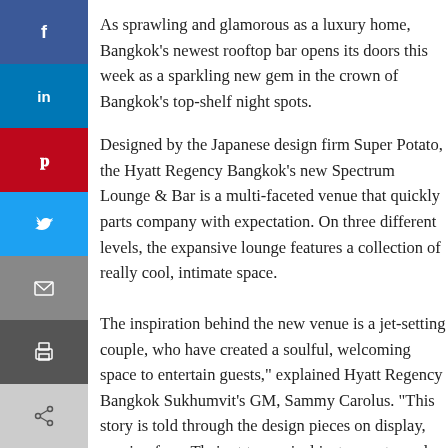[Figure (infographic): Social media share sidebar with buttons: Facebook (blue), LinkedIn (blue), Pinterest (red), Twitter (light blue), Email (grey), Print (dark grey), and a share icon (light grey)]
As sprawling and glamorous as a luxury home, Bangkok's newest rooftop bar opens its doors this week as a sparkling new gem in the crown of Bangkok's top-shelf night spots.
Designed by the Japanese design firm Super Potato, the Hyatt Regency Bangkok's new Spectrum Lounge & Bar is a multi-faceted venue that quickly parts company with expectation. On three different levels, the expansive lounge features a collection of really cool, intimate space.
The inspiration behind the new venue is a jet-setting couple, who have created a soulful, welcoming space to entertain guests," explained Hyatt Regency Bangkok Sukhumvit's GM, Sammy Carolus. "This story is told through the design pieces on display, ranging from Thai art to musical instruments, and the variety of distinct areas within the venue, like you'd find in a luxury penthouse."
Spread over three levels the journey begins on the 29th floor. Handcrafted basket-weave doors lead into a plush gathering space with marble floors and an open kitchen, surrounded by earthy wooden walls. The Thai influ...